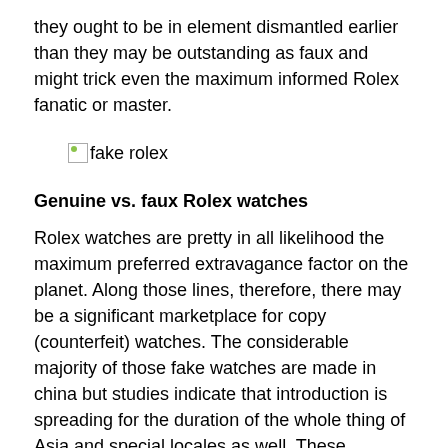they ought to be in element dismantled earlier than they may be outstanding as faux and might trick even the maximum informed Rolex fanatic or master.
[Figure (photo): Broken image placeholder labeled 'fake rolex']
Genuine vs. faux Rolex watches
Rolex watches are pretty in all likelihood the maximum preferred extravagance factor on the planet. Along those lines, therefore, there may be a significant marketplace for copy (counterfeit) watches. The considerable majority of those fake watches are made in china but studies indicate that introduction is spreading for the duration of the whole thing of Asia and special locales as well. These produced watches normally promote for $25 to $200, and the best has stepped